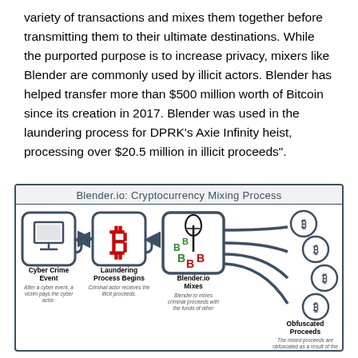variety of transactions and mixes them together before transmitting them to their ultimate destinations. While the purported purpose is to increase privacy, mixers like Blender are commonly used by illicit actors. Blender has helped transfer more than $500 million worth of Bitcoin since its creation in 2017. Blender was used in the laundering process for DPRK's Axie Infinity heist, processing over $20.5 million in illicit proceeds".
[Figure (infographic): Blender.io: Cryptocurrency Mixing Process infographic showing four steps: Cyber Crime Event (victim pays cyber actor), Laundering Process Begins (criminal actor receives illicit proceeds), Blender.io Mixes (criminal proceeds mixed with funds of other), Obfuscated Proceeds (mixed proceeds are obfuscated, illicit proceeds are...).]